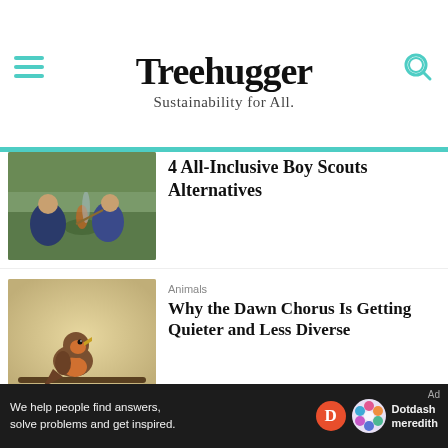Treehugger — Sustainability for All.
[Figure (photo): Children crouching around a campfire outdoors, one holding a stick]
4 All-Inclusive Boy Scouts Alternatives
[Figure (photo): A robin bird perched, beak open, soft blurred background]
Animals
Why the Dawn Chorus Is Getting Quieter and Less Diverse
[Figure (photo): Elderly man tending to small potted plants and a bowl of greens]
Garden
The Best Online Gardening Classes
We help people find answers, solve problems and get inspired. Dotdash meredith